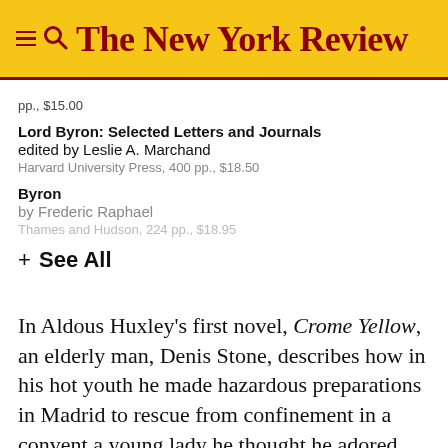The New York Review
pp., $15.00
Lord Byron: Selected Letters and Journals
edited by Leslie A. Marchand
Harvard University Press, 400 pp., $18.50
Byron
by Frederic Raphael
Thames and Hudson, 224 pp., $18.95
+ See All
In Aldous Huxley's first novel, Crome Yellow, an elderly man, Denis Stone, describes how in his hot youth he made hazardous preparations in Madrid to rescue from confinement in a convent a young lady he thought he adored. He was practicing the the